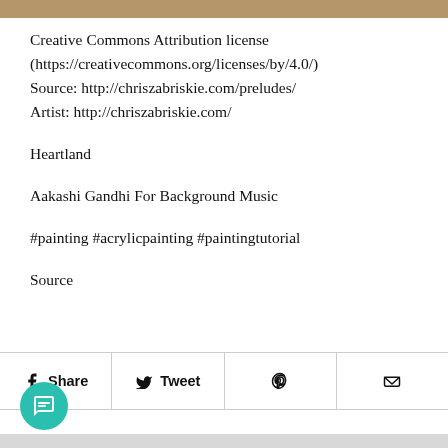Creative Commons Attribution license (https://creativecommons.org/licenses/by/4.0/)
Source: http://chriszabriskie.com/preludes/
Artist: http://chriszabriskie.com/
Heartland
Aakashi Gandhi For Background Music
#painting #acrylicpainting #paintingtutorial
Source
[Figure (infographic): Social sharing bar with Facebook Share, Twitter Tweet, Pinterest, and email icons]